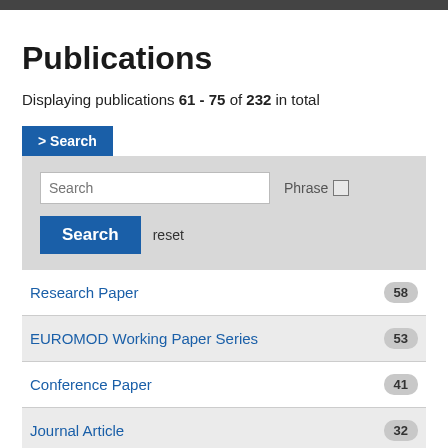Publications
Displaying publications 61 - 75 of 232 in total
> Search
Search | Phrase | Search | reset
Research Paper 58
EUROMOD Working Paper Series 53
Conference Paper 41
Journal Article 32